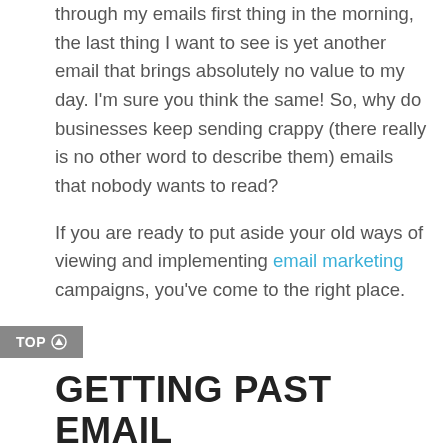through my emails first thing in the morning, the last thing I want to see is yet another email that brings absolutely no value to my day. I'm sure you think the same! So, why do businesses keep sending crappy (there really is no other word to describe them) emails that nobody wants to read?

If you are ready to put aside your old ways of viewing and implementing email marketing campaigns, you've come to the right place.
TOP ↑
GETTING PAST EMAIL DISCREPANCIES